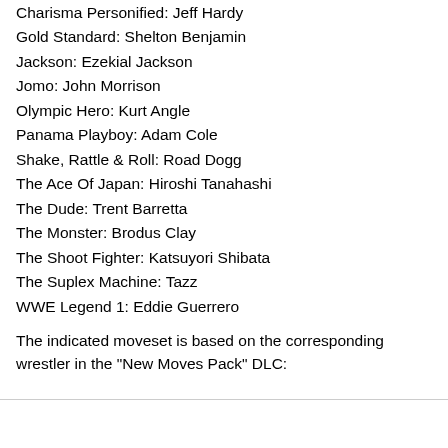Charisma Personified: Jeff Hardy
Gold Standard: Shelton Benjamin
Jackson: Ezekial Jackson
Jomo: John Morrison
Olympic Hero: Kurt Angle
Panama Playboy: Adam Cole
Shake, Rattle & Roll: Road Dogg
The Ace Of Japan: Hiroshi Tanahashi
The Dude: Trent Barretta
The Monster: Brodus Clay
The Shoot Fighter: Katsuyori Shibata
The Suplex Machine: Tazz
WWE Legend 1: Eddie Guerrero
The indicated moveset is based on the corresponding wrestler in the "New Moves Pack" DLC: